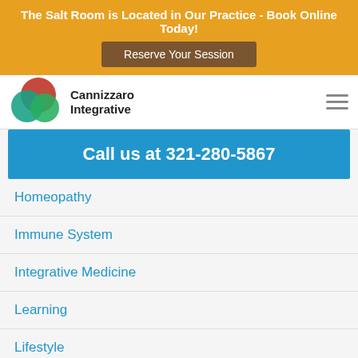The Salt Room is Located in Our Practice - Book Online Today!
Reserve Your Session
[Figure (logo): Cannizzaro Integrative logo with overlapping red, green, and teal circles]
Call us at 321-280-5867
Homeopathy
Immune System
Integrative Medicine
Learning
Lifestyle
Membership Model
Men's Health